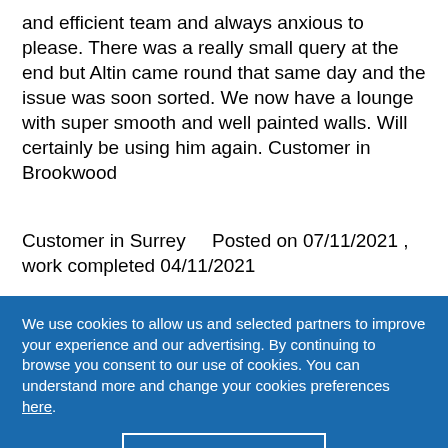and efficient team and always anxious to please. There was a really small query at the end but Altin came round that same day and the issue was soon sorted. We now have a lounge with super smooth and well painted walls. Will certainly be using him again. Customer in Brookwood
Customer in Surrey    Posted on 07/11/2021 , work completed 04/11/2021
We use cookies to allow us and selected partners to improve your experience and our advertising. By continuing to browse you consent to our use of cookies. You can understand more and change your cookies preferences here.